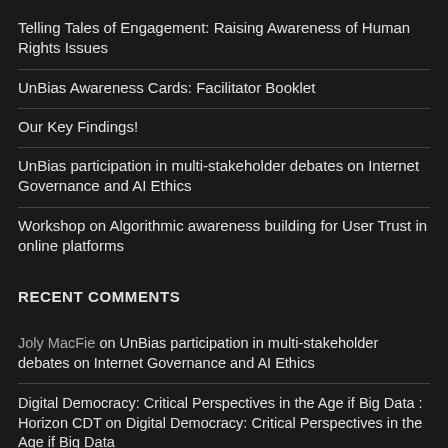Telling Tales of Engagement: Raising Awareness of Human Rights Issues
UnBias Awareness Cards: Facilitator Booklet
Our Key Findings!
UnBias participation in multi-stakeholder debates on Internet Governance and AI Ethics
Workshop on Algorithmic awareness building for User Trust in online platforms
RECENT COMMENTS
Joly MacFie on UnBias participation in multi-stakeholder debates on Internet Governance and AI Ethics
Digital Democracy: Critical Perspectives in the Age if Big Data : Horizon CDT on Digital Democracy: Critical Perspectives in the Age if Big Data